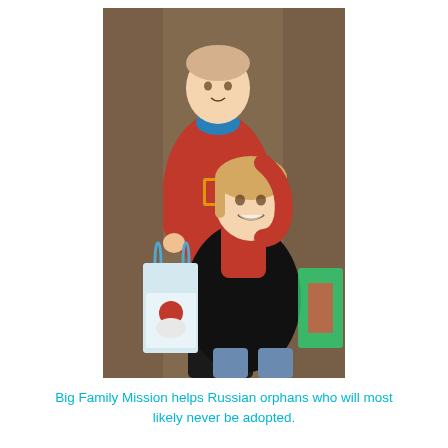[Figure (photo): A photograph of two children: a boy standing behind wearing a red sweatshirt with a blue turtleneck, and a girl/younger child in front wearing a red turtleneck and black jacket, smiling. The boy holds a colorful gift bag with a Santa Claus design. Background is a brownish interior setting.]
Big Family Mission helps Russian orphans who will most likely never be adopted.